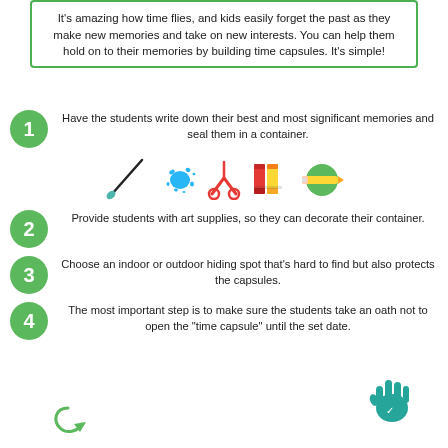It's amazing how time flies, and kids easily forget the past as they make new memories and take on new interests. You can help them hold on to their memories by building time capsules. It's simple!
1. Have the students write down their best and most significant memories and seal them in a container.
[Figure (illustration): Art supplies icons: paintbrush, blue ink splatter, red scissors, colored crayons/markers, yellow pencil through green circle]
2. Provide students with art supplies, so they can decorate their container.
3. Choose an indoor or outdoor hiding spot that's hard to find but also protects the capsules.
4. The most important step is to make sure the students take an oath not to open the "time capsule" until the set date.
[Figure (illustration): Teal/green handprint icon at bottom right]
[Figure (illustration): Green arrow/fish icon at bottom left]